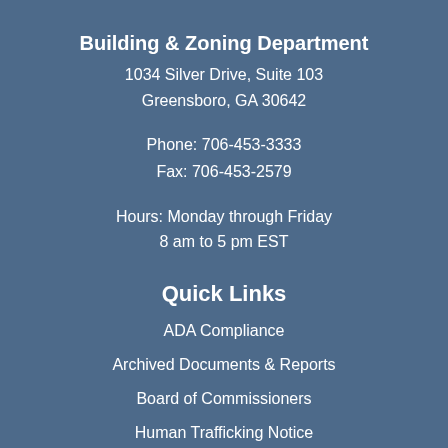Building & Zoning Department
1034 Silver Drive, Suite 103
Greensboro, GA 30642
Phone: 706-453-3333
Fax: 706-453-2579
Hours: Monday through Friday
8 am to 5 pm EST
Quick Links
ADA Compliance
Archived Documents & Reports
Board of Commissioners
Human Trafficking Notice
Open Records